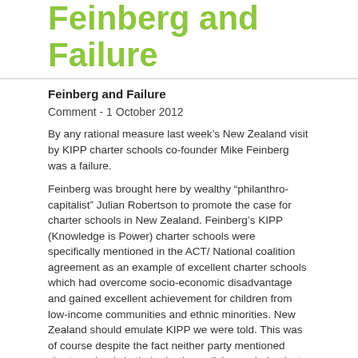Feinberg and Failure
Feinberg and Failure
Comment - 1 October 2012
By any rational measure last week’s New Zealand visit by KIPP charter schools co-founder Mike Feinberg was a failure.
Feinberg was brought here by wealthy “philanthro-capitalist” Julian Robertson to promote the case for charter schools in New Zealand. Feinberg’s KIPP (Knowledge is Power) charter schools were specifically mentioned in the ACT/ National coalition agreement as an example of excellent charter schools which had overcome socio-economic disadvantage and gained excellent achievement for children from low-income communities and ethnic minorities. New Zealand should emulate KIPP we were told. This was of course despite the fact neither party mentioned charter schools in their election policies or during last year’s election campaign.
But despite no obvious interest in charter schools the right-wing thought they could swing New Zealand around to the idea with some old-fashioned barnstorming using a passionate charter school advocate. Feinberg has been successful